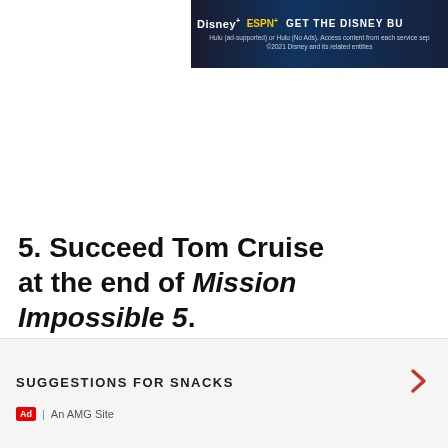[Figure (screenshot): Disney+ and ESPN+ advertisement banner with text 'GET THE DISNEY BU...' and disclaimer text about Hulu ad-supported service, ©2021 Disney and its related entities]
5. Succeed Tom Cruise at the end of Mission Impossible 5.
[Figure (logo): Feather/filter icon in teal/green color]
[Figure (other): Close (X) icon circle button]
SUGGESTIONS FOR SNACKS
Ad | An AMG Site